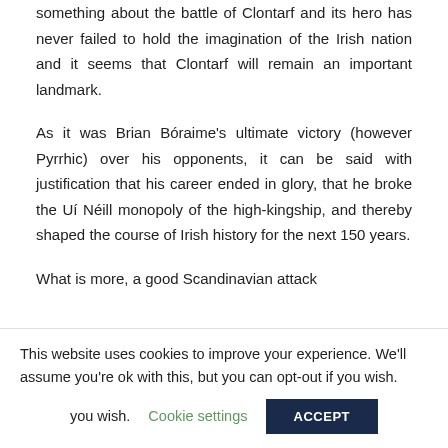something about the battle of Clontarf and its hero has never failed to hold the imagination of the Irish nation and it seems that Clontarf will remain an important landmark.
As it was Brian Bóraime's ultimate victory (however Pyrrhic) over his opponents, it can be said with justification that his career ended in glory, that he broke the Uí Néill monopoly of the high-kingship, and thereby shaped the course of Irish history for the next 150 years.
What is more, a good Scandinavian attack...
This website uses cookies to improve your experience. We'll assume you're ok with this, but you can opt-out if you wish.